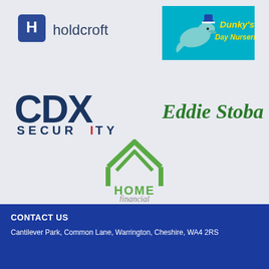[Figure (logo): Holdcroft logo - dark blue square with white H letter followed by 'holdcroft' text in dark blue]
[Figure (logo): Dunky's Day Nurseries logo - cyan/turquoise background with dolphin wearing captain hat, yellow text 'Dunky's Day Nurseries']
[Figure (logo): CDX Security logo - large dark blue CDX letters with SECURITY below, red I in SECURITY]
[Figure (logo): Eddie Stobart logo - green italic bold text 'Eddie Stobart']
[Figure (logo): Home Financial logo - green house outline icon above 'HOME financial' text in green/grey]
CONTACT US
Cantilever Park, Common Lane, Warrington, Cheshire, WA4 2RS